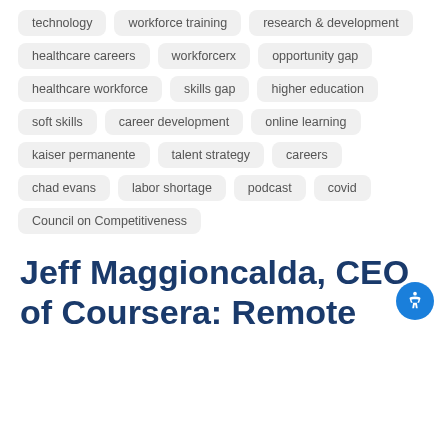technology
workforce training
research & development
healthcare careers
workforcerx
opportunity gap
healthcare workforce
skills gap
higher education
soft skills
career development
online learning
kaiser permanente
talent strategy
careers
chad evans
labor shortage
podcast
covid
Council on Competitiveness
Jeff Maggioncalda, CEO of Coursera: Remote